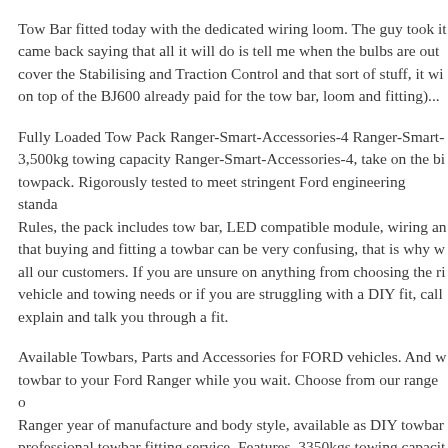Tow Bar fitted today with the dedicated wiring loom. The guy took it came back saying that all it will do is tell me when the bulbs are out cover the Stabilising and Traction Control and that sort of stuff, it wi on top of the BJ600 already paid for the tow bar, loom and fitting)...
Fully Loaded Tow Pack Ranger-Smart-Accessories-4 Ranger-Smart- 3,500kg towing capacity Ranger-Smart-Accessories-4, take on the bi towpack. Rigorously tested to meet stringent Ford engineering standa Rules, the pack includes tow bar, LED compatible module, wiring an that buying and fitting a towbar can be very confusing, that is why w all our customers. If you are unsure on anything from choosing the ri vehicle and towing needs or if you are struggling with a DIY fit, call explain and talk you through a fit.
Available Towbars, Parts and Accessories for FORD vehicles. And w towbar to your Ford Ranger while you wait. Choose from our range Ranger year of manufacture and body style, available as DIY towbar professional towbar fitting service. Features. 3350kgs towing capacit